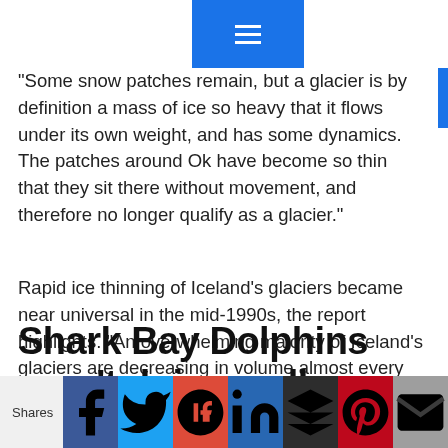Navigation menu button
“Some snow patches remain, but a glacier is by definition a mass of ice so heavy that it flows under its own weight, and has some dynamics. The patches around Ok have become so thin that they sit there without movement, and therefore no longer qualify as a glacier.”
Rapid ice thinning of Iceland’s glaciers became near universal in the mid-1990s, the report highlights. “An overwhelming majority of Iceland’s glaciers are decreasing in volume almost every year,” the report says.
Shark Bay Dolphins aren’t doing well as waters warm
Shares [social share buttons: Facebook, Twitter, Google+, LinkedIn, Buffer, Pinterest, Mail]